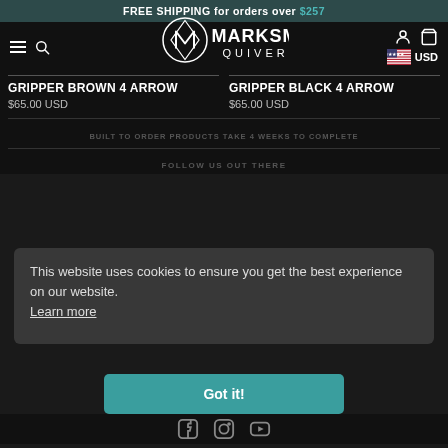FREE SHIPPING for orders over $257
[Figure (logo): Marksman Quivers logo with stylized M icon and text]
GRIPPER BROWN 4 ARROW
$65.00 USD
GRIPPER BLACK 4 ARROW
$65.00 USD
This website uses cookies to ensure you get the best experience on our website. Learn more
Got it!
BUILT TO ORDER PRODUCTS TAKE 4 WEEKS TO COMPLETE
FOLLOW US OUT THERE